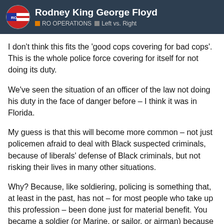Rodney King George Floyd — RO OPERATIONS — Left vs. Right
I don't think this fits the 'good cops covering for bad cops'. This is the whole police force covering for itself for not doing its duty.
We've seen the situation of an officer of the law not doing his duty in the face of danger before – I think it was in Florida.
My guess is that this will become more common – not just policemen afraid to deal with Black suspected criminals, because of liberals' defense of Black criminals, but not risking their lives in many other situations.
Why? Because, like soldiering, policing is something that, at least in the past, has not – for most people who take up this profession – been done just for material benefit. You became a soldier (or Marine, or sailor, or airman) because of the respect the rest of us gave to someone who was willing to put his life on the line to defend the rest of us. Same respected them in a way you did not resp